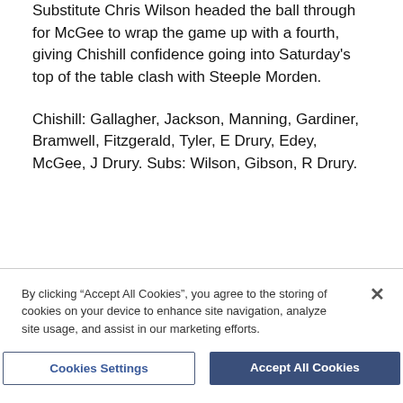Substitute Chris Wilson headed the ball through for McGee to wrap the game up with a fourth, giving Chishill confidence going into Saturday's top of the table clash with Steeple Morden.
Chishill: Gallagher, Jackson, Manning, Gardiner, Bramwell, Fitzgerald, Tyler, E Drury, Edey, McGee, J Drury. Subs: Wilson, Gibson, R Drury.
By clicking “Accept All Cookies”, you agree to the storing of cookies on your device to enhance site navigation, analyze site usage, and assist in our marketing efforts.